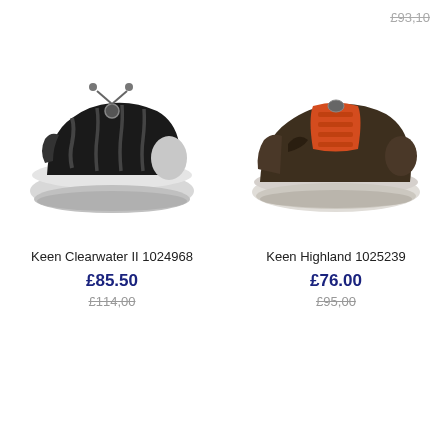£93,10 (strikethrough, top right)
[Figure (photo): Keen Clearwater II black water sandal with grey sole and bungee lace system]
[Figure (photo): Keen Highland dark brown sneaker with orange/red laces and grey sole]
Keen Clearwater II 1024968
£85.50
£114,00 (strikethrough)
Keen Highland 1025239
£76.00
£95,00 (strikethrough)